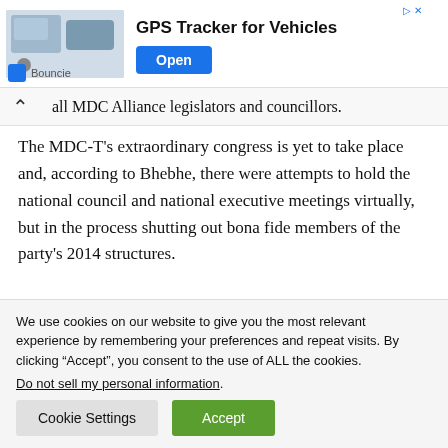[Figure (other): Advertisement banner for GPS Tracker for Vehicles by Bouncie, showing a device and phone, with an Open button]
...all MDC Alliance legislators and councillors.
The MDC-T's extraordinary congress is yet to take place and, according to Bhebhe, there were attempts to hold the national council and national executive meetings virtually, but in the process shutting out bona fide members of the party's 2014 structures.
We use cookies on our website to give you the most relevant experience by remembering your preferences and repeat visits. By clicking “Accept”, you consent to the use of ALL the cookies.
Do not sell my personal information.
Cookie Settings   Accept